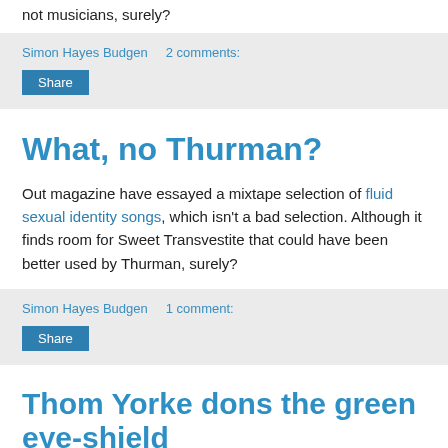not musicians, surely?
Simon Hayes Budgen   2 comments:
Share
What, no Thurman?
Out magazine have essayed a mixtape selection of fluid sexual identity songs, which isn't a bad selection. Although it finds room for Sweet Transvestite that could have been better used by Thurman, surely?
Simon Hayes Budgen   1 comment:
Share
Thom Yorke dons the green eye-shield